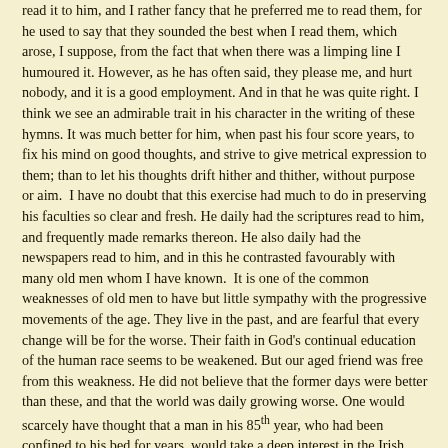read it to him, and I rather fancy that he preferred me to read them, for he used to say that they sounded the best when I read them, which arose, I suppose, from the fact that when there was a limping line I humoured it. However, as he has often said, they please me, and hurt nobody, and it is a good employment. And in that he was quite right. I think we see an admirable trait in his character in the writing of these hymns. It was much better for him, when past his four score years, to fix his mind on good thoughts, and strive to give metrical expression to them; than to let his thoughts drift hither and thither, without purpose or aim. I have no doubt that this exercise had much to do in preserving his faculties so clear and fresh. He daily had the scriptures read to him, and frequently made remarks thereon. He also daily had the newspapers read to him, and in this he contrasted favourably with many old men whom I have known. It is one of the common weaknesses of old men to have but little sympathy with the progressive movements of the age. They live in the past, and are fearful that every change will be for the worse. Their faith in God's continual education of the human race seems to be weakened. But our aged friend was free from this weakness. He did not believe that the former days were better than these, and that the world was daily growing worse. One would scarcely have thought that a man in his 85th year, who had been confined to his bed for years, would take a deep interest in the Irish Church Bill. Yet that was the case with our